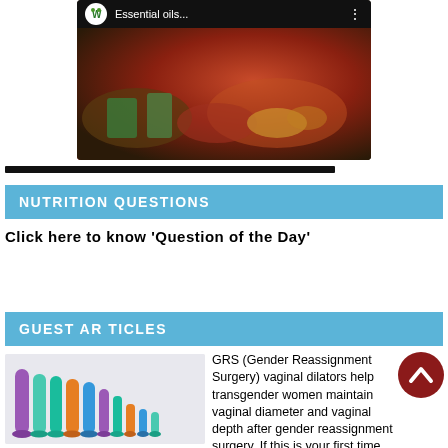[Figure (screenshot): YouTube-style video thumbnail showing 'Essential oils...' with play button overlay and colorful food/ingredient imagery]
NUTRITION QUESTIONS
Click here to know 'Question of the Day'
GUEST ARTICLES
[Figure (photo): Photo of colorful silicone vaginal dilators of various sizes arranged in a row]
GRS (Gender Reassignment Surgery) vaginal dilators help transgender women maintain vaginal diameter and vaginal depth after gender reassignment surgery. If this is your first time